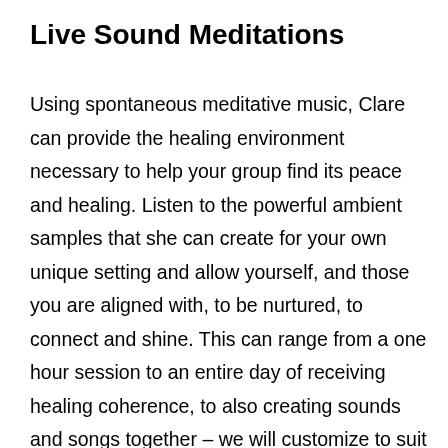Live Sound Meditations
Using spontaneous meditative music, Clare can provide the healing environment necessary to help your group find its peace and healing. Listen to the powerful ambient samples that she can create for your own unique setting and allow yourself, and those you are aligned with, to be nurtured, to connect and shine. This can range from a one hour session to an entire day of receiving healing coherence, to also creating sounds and songs together – we will customize to suit your needs, upon discussion. Healing comes with resonance with 'what is' inside ourselves